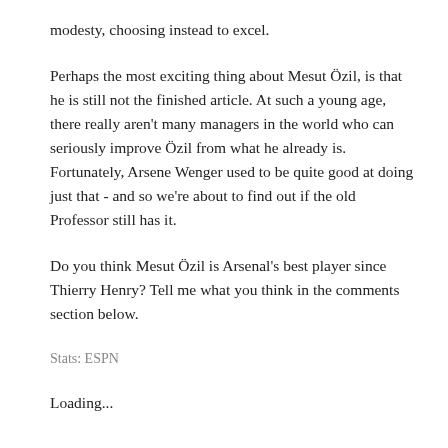modesty, choosing instead to excel.
Perhaps the most exciting thing about Mesut Özil, is that he is still not the finished article. At such a young age, there really aren’t many managers in the world who can seriously improve Özil from what he already is. Fortunately, Arsene Wenger used to be quite good at doing just that - and so we’re about to find out if the old Professor still has it.
Do you think Mesut Özil is Arsenal’s best player since Thierry Henry? Tell me what you think in the comments section below.
Stats: ESPN
Loading...